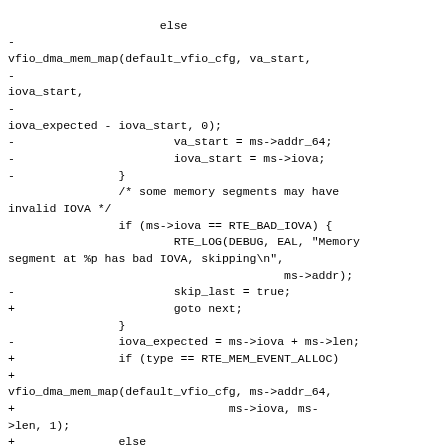Code diff showing vfio_dma_mem_map and related memory segment handling logic including RTE_LOG, skip_last, goto next, iova_expected, RTE_MEM_EVENT_ALLOC checks